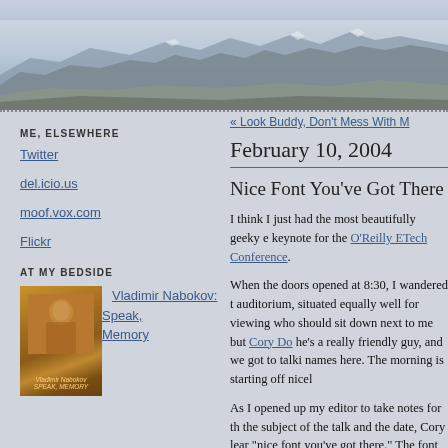[Figure (photo): Website header banner showing a mountain landscape with blue-grey sky and snow-dusted mountain ridgeline silhouette]
ME, ELSEWHERE
Twitter
del.icio.us
moof.vox.com
Flickr
AT MY BEDSIDE
[Figure (photo): Book cover of Vladimir Nabokov: Speak, Memory — sepia-toned portrait photo of a man]
Vladimir Nabokov: Speak, Memory
« Look Buddy, Don't Mess With M
February 10, 2004
Nice Font You've Got There
I think I just had the most beautifully geeky e keynote for the O'Reilly ETech Conference.
When the doors opened at 8:30, I wandered t auditorium, situated equally well for viewing who should sit down next to me but Cory Do he's a really friendly guy, and we got to talki names here. The morning is starting off nicel
As I opened up my editor to take notes for th the subject of the talk and the date, Cory lear "nice font you've got there." The font he was